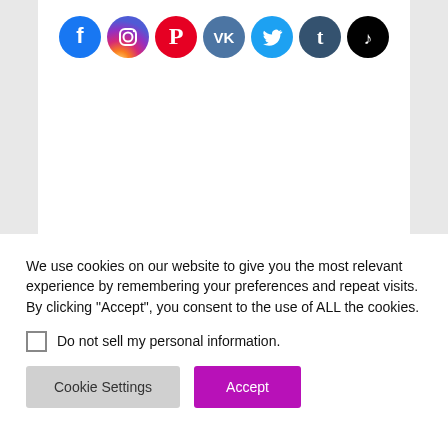[Figure (other): Row of social media icons: Facebook (blue), Instagram (pink/red gradient), Pinterest (red), VK (blue), Twitter (light blue), Tumblr (dark blue/teal), TikTok (black)]
We use cookies on our website to give you the most relevant experience by remembering your preferences and repeat visits. By clicking “Accept”, you consent to the use of ALL the cookies.
Do not sell my personal information.
Cookie Settings
Accept